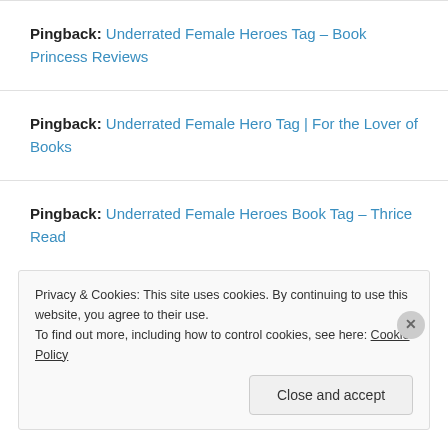Pingback: Underrated Female Heroes Tag – Book Princess Reviews
Pingback: Underrated Female Hero Tag | For the Lover of Books
Pingback: Underrated Female Heroes Book Tag – Thrice Read
Privacy & Cookies: This site uses cookies. By continuing to use this website, you agree to their use. To find out more, including how to control cookies, see here: Cookie Policy